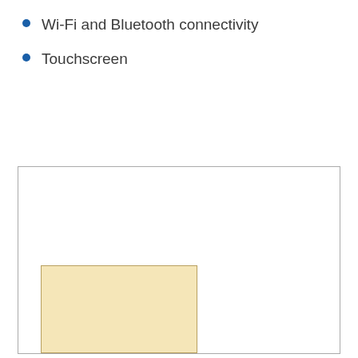Wi-Fi and Bluetooth connectivity
Touchscreen
[Figure (schematic): Large bordered white box containing a smaller beige/tan filled rectangle in the lower-left area, likely a diagram placeholder or figure frame.]